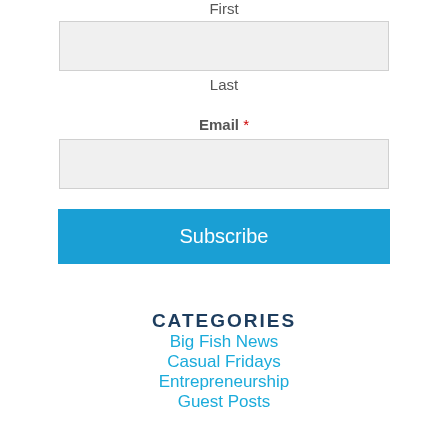First
Last
Email *
Subscribe
CATEGORIES
Big Fish News
Casual Fridays
Entrepreneurship
Guest Posts